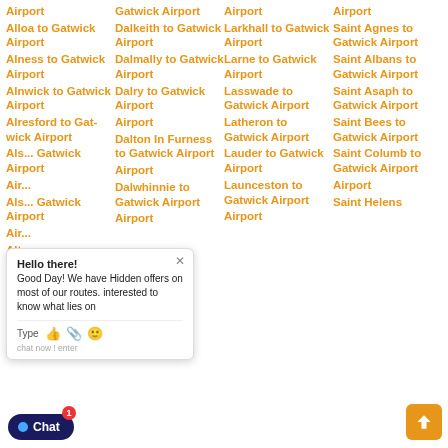Airport
Alloa to Gatwick Airport
Alness to Gatwick Airport
Alnwick to Gatwick Airport
Alresford to Gatwick Airport
Als... Gatwick Airport
Alt... Gatwick Airport
Gatwick Airport
Dalkeith to Gatwick Airport
Dalmally to Gatwick Airport
Dalry to Gatwick Airport
Dalton In Furness to Gatwick Airport
Dalwhinnie to Gatwick Airport
Airport
Airport
Larkhall to Gatwick Airport
Larne to Gatwick Airport
Lasswade to Gatwick Airport
Latheron to Gatwick Airport
Lauder to Gatwick Airport
Launceston to Gatwick Airport
Airport
Saint Agnes to Gatwick Airport
Saint Albans to Gatwick Airport
Saint Asaph to Gatwick Airport
Saint Bees to Gatwick Airport
Saint Columb to Gatwick Airport
Saint Helens
Airport